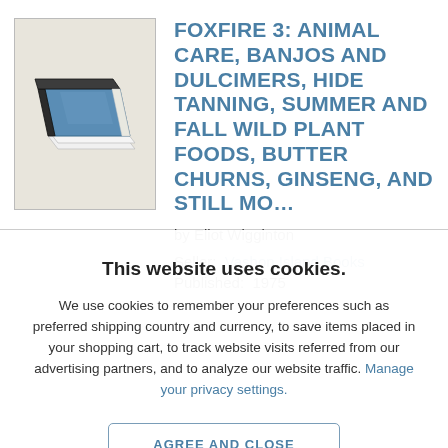[Figure (illustration): Book icon illustration showing a stack of books with blue and dark grey covers on a light beige background]
FOXFIRE 3: ANIMAL CARE, BANJOS AND DULCIMERS, HIDE TANNING, SUMMER AND FALL WILD PLANT FOODS, BUTTER CHURNS, GINSENG, AND STILL MO...
by Eliot Wigginton
Seller:  Vashon Island Books
Published:  1975
This website uses cookies.
We use cookies to remember your preferences such as preferred shipping country and currency, to save items placed in your shopping cart, to track website visits referred from our advertising partners, and to analyze our website traffic. Manage your privacy settings.